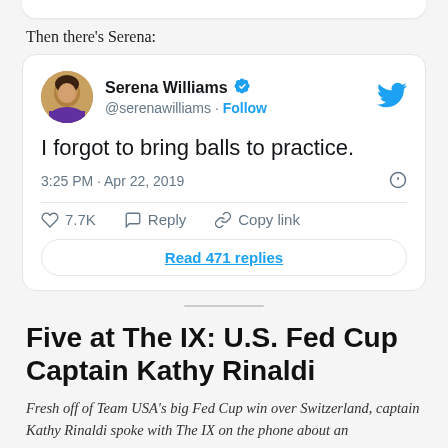Then there's Serena:
[Figure (screenshot): Embedded tweet from Serena Williams (@serenawilliams) with blue verified checkmark. Tweet text: 'I forgot to bring balls to practice.' Posted at 3:25 PM · Apr 22, 2019. Shows 7.7K likes, Reply, Copy link actions, and a 'Read 471 replies' button.]
Five at The IX: U.S. Fed Cup Captain Kathy Rinaldi
Fresh off of Team USA's big Fed Cup win over Switzerland, captain Kathy Rinaldi spoke with The IX on the phone about an